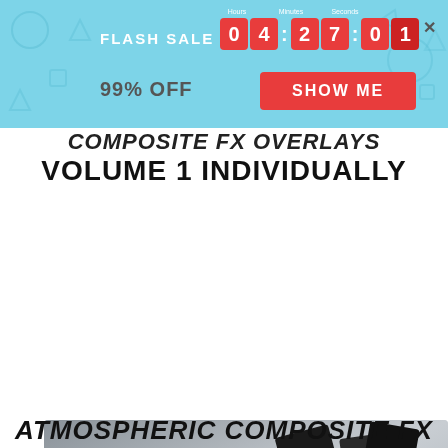[Figure (screenshot): Flash sale banner with countdown timer showing 04:27:01, 99% OFF text, and SHOW ME button on light blue background with close X button]
COMPOSITE FX OVERLAYS VOLUME 1 INDIVIDUALLY
[Figure (screenshot): Video thumbnail for Overlay FX Retouching Tools showing a laptop with Superman image, 3D floating dark panels, play button overlay, navigation arrows, and chat bubble with notification badge]
ATMOSPHERIC COMPOSITE FX